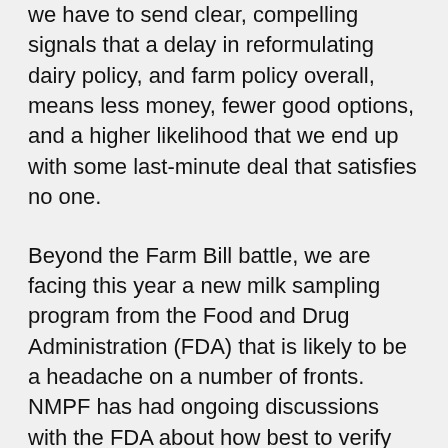we have to send clear, compelling signals that a delay in reformulating dairy policy, and farm policy overall, means less money, fewer good options, and a higher likelihood that we end up with some last-minute deal that satisfies no one.
Beyond the Farm Bill battle, we are facing this year a new milk sampling program from the Food and Drug Administration (FDA) that is likely to be a headache on a number of fronts. NMPF has had ongoing discussions with the FDA about how best to verify whether current drug residue testing protocols are effective. Any day now, the FDA is planning to roll out a program where they take samples from approximately 900 dairy farms that have had past residue violations – not in their milk, but in the tissues of culled dairy cows. NMPF has raised several concerns with the FDA plan, but as it stands now, the FDA is likely to move ahead with this program in the coming months. We will try as hard as possible to avoid this program being a black eye for the dairy...